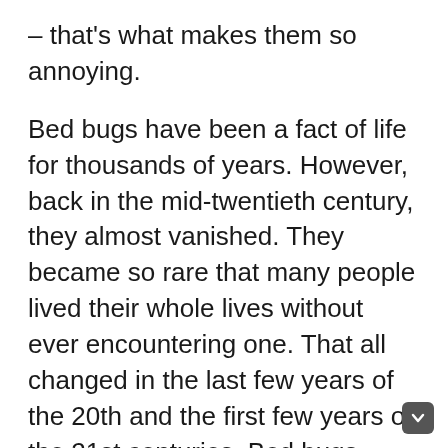– that's what makes them so annoying.
Bed bugs have been a fact of life for thousands of years. However, back in the mid-twentieth century, they almost vanished. They became so rare that many people lived their whole lives without ever encountering one. That all changed in the last few years of the 20th and the first few years of the 21st centuries. Bed bugs made an astonishing recovery worldwide, to the point that they have created a $650 million a year industry in the US alone.
With all this money devoted to bedbugs, it's not surprising that people are forever trying to come up with new methods to treat them. The